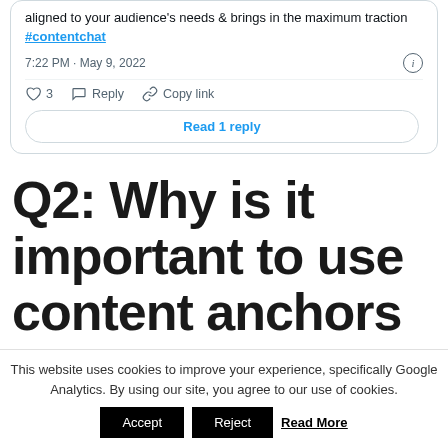[Figure (screenshot): Twitter/X tweet card showing partial tweet text with hashtag #contentchat, timestamp 7:22 PM · May 9, 2022, like count 3, Reply and Copy link actions, and a Read 1 reply button]
Q2: Why is it important to use content anchors as part of your content
This website uses cookies to improve your experience, specifically Google Analytics. By using our site, you agree to our use of cookies.
Accept   Reject   Read More